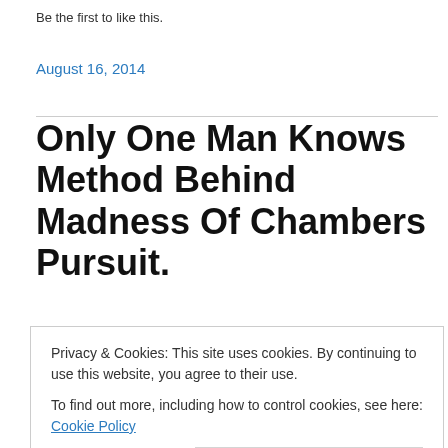Be the first to like this.
August 16, 2014
Only One Man Knows Method Behind Madness Of Chambers Pursuit.
Many Arsenal fans are waking up to hear the news that broke last night of Arsenal's supposed deal to sign
Privacy & Cookies: This site uses cookies. By continuing to use this website, you agree to their use. To find out more, including how to control cookies, see here: Cookie Policy
Close and accept
Friday.